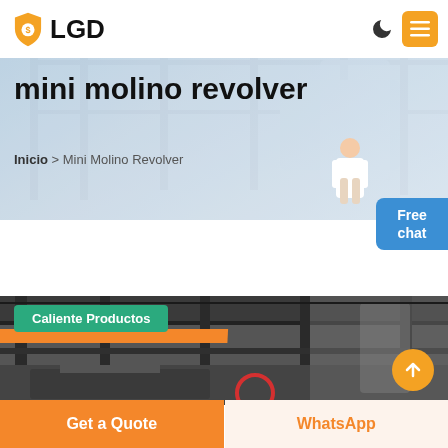LGD
mini molino revolver
Inicio > Mini Molino Revolver
[Figure (illustration): Person in white lab coat standing next to the hero banner]
[Figure (other): Free chat blue button]
[Figure (photo): Industrial machinery factory interior with orange crane beam, Caliente Productos green badge, red circle outline on machinery, orange up-arrow button]
Get a Quote
WhatsApp